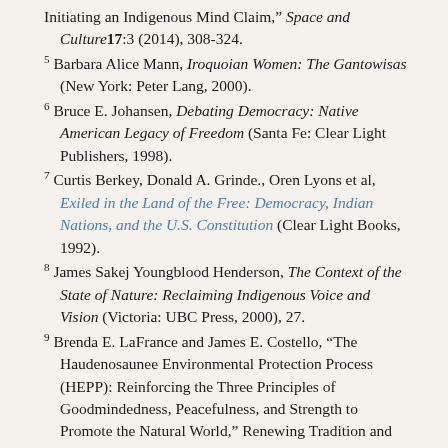Initiating an Indigenous Mind Claim," Space and Culture17:3 (2014), 308-324.
5 Barbara Alice Mann, Iroquoian Women: The Gantowisas (New York: Peter Lang, 2000).
6 Bruce E. Johansen, Debating Democracy: Native American Legacy of Freedom (Santa Fe: Clear Light Publishers, 1998).
7 Curtis Berkey, Donald A. Grinde., Oren Lyons et al, Exiled in the Land of the Free: Democracy, Indian Nations, and the U.S. Constitution (Clear Light Books, 1992).
8 James Sakej Youngblood Henderson, The Context of the State of Nature: Reclaiming Indigenous Voice and Vision (Victoria: UBC Press, 2000), 27.
9 Brenda E. LaFrance and James E. Costello, "The Haudenosaunee Environmental Protection Process (HEPP): Reinforcing the Three Principles of Goodmindedness, Peacefulness, and Strength to Promote the Natural World," Renewing Tradition and...